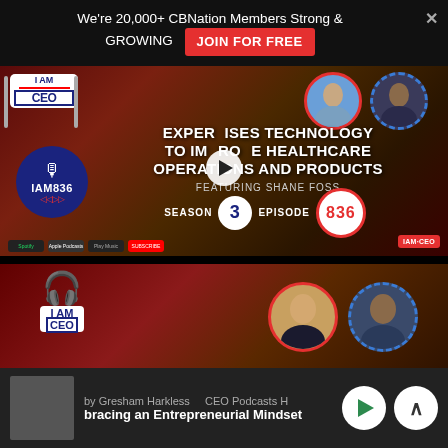We're 20,000+ CBNation Members Strong & GROWING
JOIN FOR FREE
[Figure (screenshot): IAM CEO Podcast thumbnail for episode IAM836 featuring Shane Foss, Season 3 Episode 836. Text reads: EXPERTISES TECHNOLOGY TO IMPROVE HEALTHCARE OPERATIONS AND PRODUCTS]
[Figure (screenshot): IAM CEO Podcast thumbnail (lower) with headphone logo and two profile photos]
by Gresham Harkless   CEO Podcasts H
bracing an Entrepreneurial Mindset